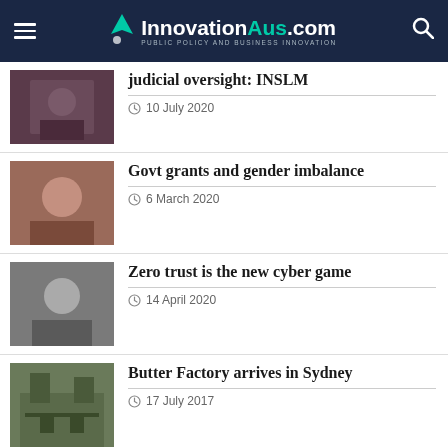InnovationAus.com — PUBLIC POLICY AND BUSINESS INNOVATION
judicial oversight: INSLM — 10 July 2020
Govt grants and gender imbalance — 6 March 2020
Zero trust is the new cyber game — 14 April 2020
Butter Factory arrives in Sydney — 17 July 2017